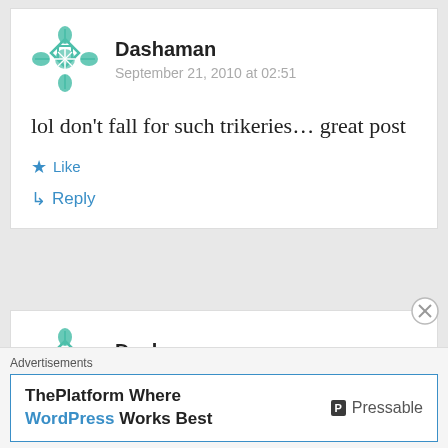Dashaman
September 21, 2010 at 02:51
lol don't fall for such trikeries… great post
Like
Reply
Dashaman
September 21, 2010 at 02:51
Advertisements
ThePlatform Where WordPress Works Best
Pressable